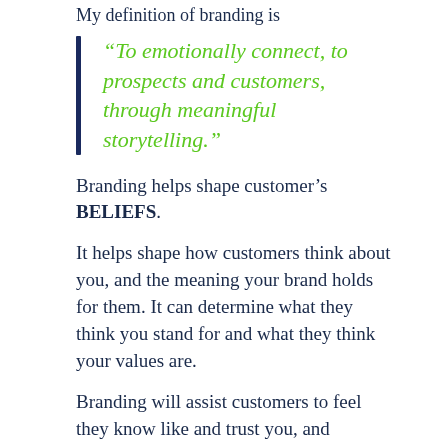My definition of branding is
“To emotionally connect, to prospects and customers, through meaningful storytelling.”
Branding helps shape customer’s BELIEFS.
It helps shape how customers think about you, and the meaning your brand holds for them. It can determine what they think you stand for and what they think your values are.
Branding will assist customers to feel they know like and trust you, and subsequently encourage them to want to support and buy from you.